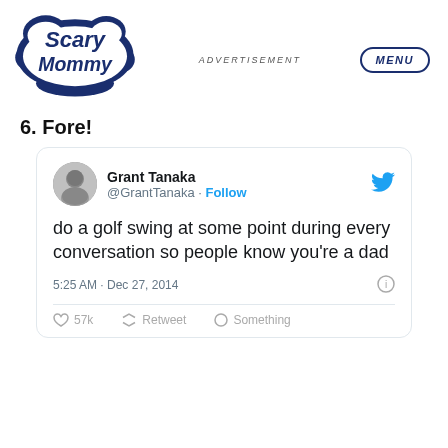Scary Mommy — ADVERTISEMENT — MENU
6. Fore!
[Figure (screenshot): Tweet by Grant Tanaka (@GrantTanaka) with Follow button and Twitter bird icon. Tweet text: 'do a golf swing at some point during every conversation so people know you're a dad'. Timestamp: 5:25 AM · Dec 27, 2014. Info icon at bottom right. Bottom bar partially visible with like, retweet, share icons.]